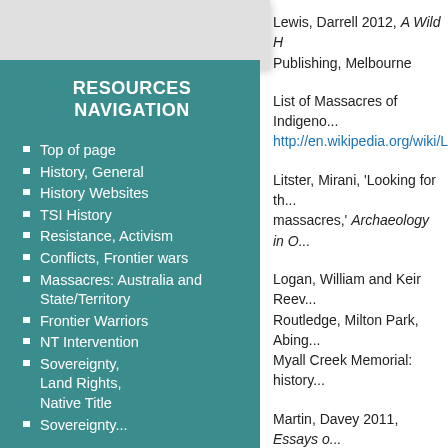Lewis, Darrell 2012, A Wild H... Publishing, Melbourne
List of Massacres of Indigeno... http://en.wikipedia.org/wiki/Li...
Litster, Mirani, 'Looking for th... massacres,' Archaeology in O...
Logan, William and Keir Reev... Routledge, Milton Park, Abing... Myall Creek Memorial: history...
Martin, Davey 2011, Essays o... kept since Victoria's frontier d... PenFolk Publishing, Blackbur...
'Massacre at Appin in 1816,' ... http://www.cahs.com.au/mas...
RESOURCES NAVIGATION
Top of page
History, General
History Websites
TSI History
Resistance, Activism
Conflicts, Frontier wars
Massacres: Australia and State/Territory
Frontier Warriors
NT Intervention
Sovereignty, Land Rights, Native Title
Sovereignty...